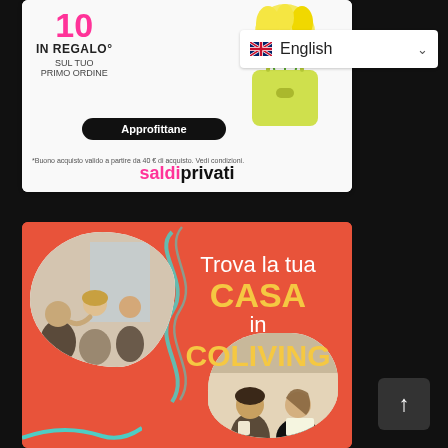[Figure (illustration): Saldi Privati promotional ad banner with '10 in regalo sul tuo primo ordine' text, yellow handbag, 'Approfittane' button, fine print, and saldiprivati logo]
[Figure (screenshot): English language selector dropdown UI element with UK flag icon]
[Figure (illustration): Coliving advertisement with orange/coral background, photos of people in blob shapes, teal wave decoration, text 'Trova la tua CASA in COLIVING' in white and yellow]
[Figure (other): Scroll-to-top button with upward arrow icon on dark background]